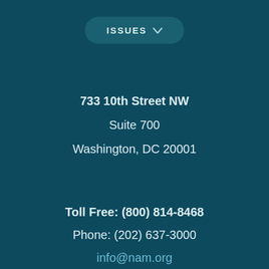[Figure (other): ISSUES button with dropdown chevron, styled as a rounded pill button in teal/dark blue]
733 10th Street NW
Suite 700
Washington, DC 20001
Toll Free: (800) 814-8468
Phone: (202) 637-3000
info@nam.org
CONNECT WITH US